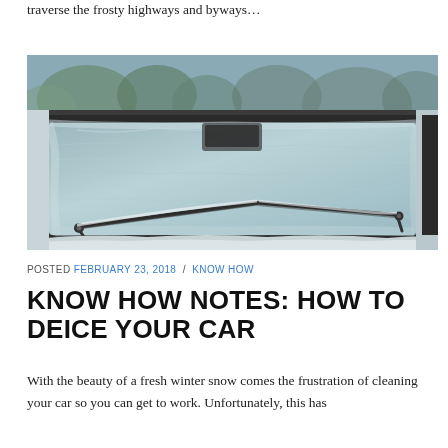traverse the frosty highways and byways…
[Figure (photo): Close-up photo of a car windshield covered in frost and ice, with wiper blades visible at the bottom, snow visible around the edges.]
POSTED FEBRUARY 23, 2018 / KNOW HOW
KNOW HOW NOTES: HOW TO DEICE YOUR CAR
With the beauty of a fresh winter snow comes the frustration of cleaning your car so you can get to work. Unfortunately, this has